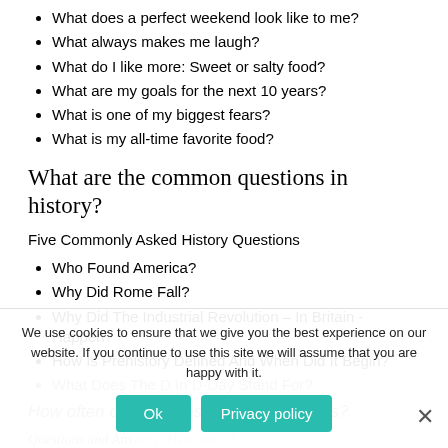What does a perfect weekend look like to me?
What always makes me laugh?
What do I like more: Sweet or salty food?
What are my goals for the next 10 years?
What is one of my biggest fears?
What is my all-time favorite food?
What are the common questions in history?
Five Commonly Asked History Questions
Who Found America?
Why Did Rome Fall?
Why Did The Industrial Revolution – In Britain - Happen?
How Is Prehistory Defined And When Did It Begin?
What Does The D In D-Day Stand For?
How often do you questions and answers?
Questions and Answers: Here you...?
We use cookies to ensure that we give you the best experience on our website. If you continue to use this site we will assume that you are happy with it.